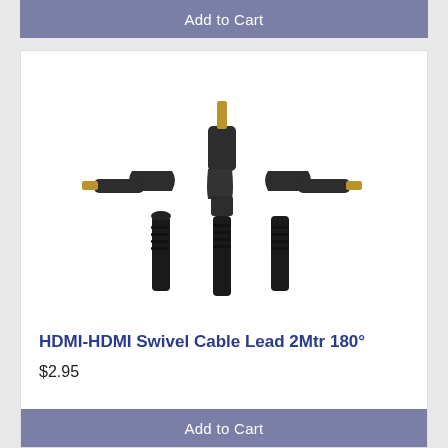Add to Cart
[Figure (photo): Three HDMI swivel cable connectors with gold-tipped ends and black braided cables, showing different angle orientations (left angle, straight/top, right angle).]
HDMI-HDMI Swivel Cable Lead 2Mtr 180°
$2.95
Add to Cart